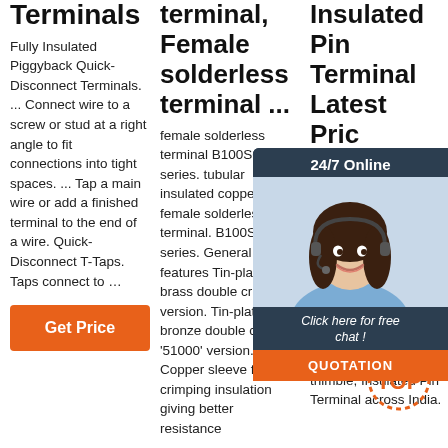Terminals
Fully Insulated Piggyback Quick-Disconnect Terminals. ... Connect wire to a screw or stud at a right angle to fit connections into tight spaces. ... Tap a main wire or add a finished terminal to the end of a wire. Quick-Disconnect T-Taps. Taps connect to …
[Figure (other): Orange 'Get Price' button]
terminal, Female solderless terminal ...
female solderless terminal B100SQ series. tubular insulated copper. female solderless terminal. B100SQ series. General features Tin-plated brass double crimp 'S' version. Tin-plated bronze double crimp '51000' version. Copper sleeve for crimping insulation giving better resistance
Insulated Pin Terminal Latest Price
Find here thimble, Pin Terminal manufacturers, suppliers, exporters. Get contact details of companies manufacturing and supplying Pin thimble, Insulated Pin Terminal across India.
[Figure (other): 24/7 Online chat widget with female customer service representative photo, 'Click here for free chat!' message, and orange QUOTATION button]
[Figure (logo): TOP logo with orange dotted ring]
[Figure (other): Orange 'Get Pr...' button (partially visible)]